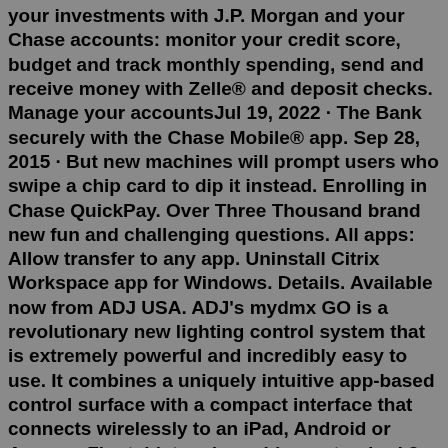your investments with J.P. Morgan and your Chase accounts: monitor your credit score, budget and track monthly spending, send and receive money with Zelle® and deposit checks. Manage your accountsJul 19, 2022 · The Bank securely with the Chase Mobile® app. Sep 28, 2015 · But new machines will prompt users who swipe a chip card to dip it instead. Enrolling in Chase QuickPay. Over Three Thousand brand new fun and challenging questions. All apps: Allow transfer to any app. Uninstall Citrix Workspace app for Windows. Details. Available now from ADJ USA. ADJ's mydmx GO is a revolutionary new lighting control system that is extremely powerful and incredibly easy to use. It combines a uniquely intuitive app-based control surface with a compact interface that connects wirelessly to an iPad, Android or Amazon Fire tablet and provides a standard 3-pin XLR ... Download Chase Bank App To Laptop free download, and many more programs Get help whenever—and wherever—you need it with Live Chat. Access is everything, and the Southwest app